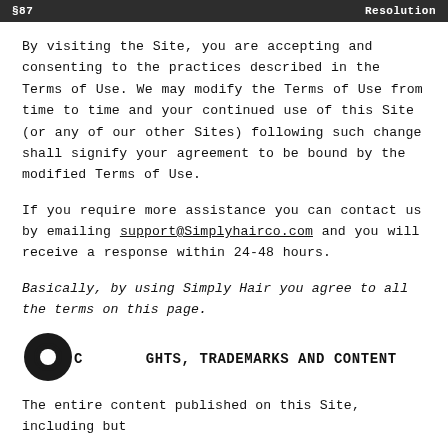§87  Resolution
By visiting the Site, you are accepting and consenting to the practices described in the Terms of Use. We may modify the Terms of Use from time to time and your continued use of this Site (or any of our other Sites) following such change shall signify your agreement to be bound by the modified Terms of Use.
If you require more assistance you can contact us by emailing support@Simplyhairco.com and you will receive a response within 24-48 hours.
Basically, by using Simply Hair you agree to all the terms on this page.
COPYRIGHTS, TRADEMARKS AND CONTENT
The entire content published on this Site, including but